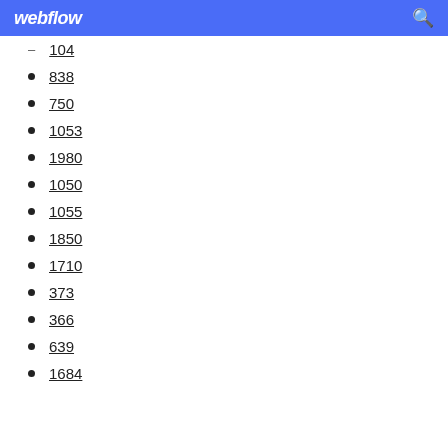webflow
104
838
750
1053
1980
1050
1055
1850
1710
373
366
639
1684